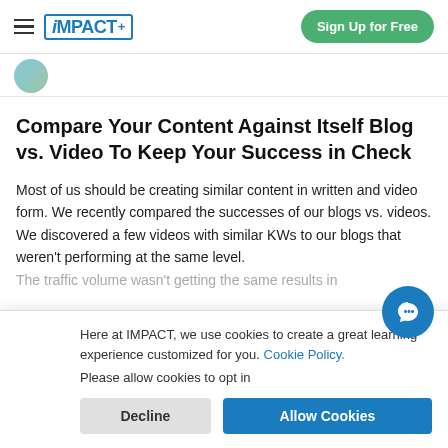iMPACT+ | Sign Up for Free
Compare Your Content Against Itself Blog vs. Video To Keep Your Success in Check
Most of us should be creating similar content in written and video form. We recently compared the successes of our blogs vs. videos. We discovered a few videos with similar KWs to our blogs that weren't performing at the same level. The traffic volume wasn't getting the same results in
Here at IMPACT, we use cookies to create a great learning experience customized for you. Cookie Policy.

Please allow cookies to opt in
Decline
Allow Cookies